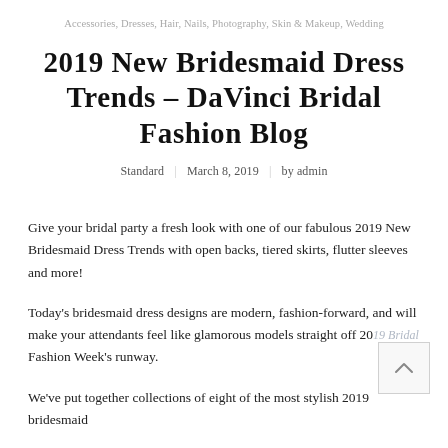Accessories, Dresses, Hair, Nails, Photography, Skin & Makeup, Wedding
2019 New Bridesmaid Dress Trends – DaVinci Bridal Fashion Blog
Standard  |  March 8, 2019  |  by admin
Give your bridal party a fresh look with one of our fabulous 2019 New Bridesmaid Dress Trends with open backs, tiered skirts, flutter sleeves and more!
Today's bridesmaid dress designs are modern, fashion-forward, and will make your attendants feel like glamorous models straight off 2019 Bridal Fashion Week's runway.
We've put together collections of eight of the most stylish 2019 bridesmaid